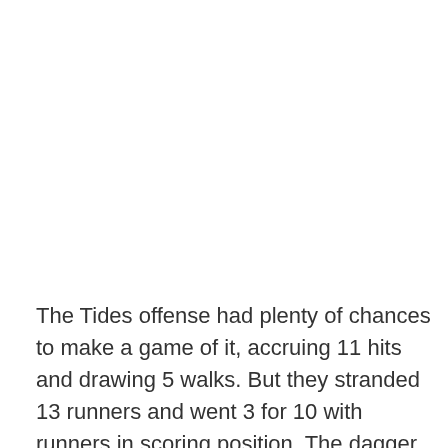The Tides offense had plenty of chances to make a game of it, accruing 11 hits and drawing 5 walks. But they stranded 13 runners and went 3 for 10 with runners in scoring position. The dagger to the Tides' hopes of mounting a comeback came in a particularly Orioles-esque 5th inning, which saw 3 consecutive